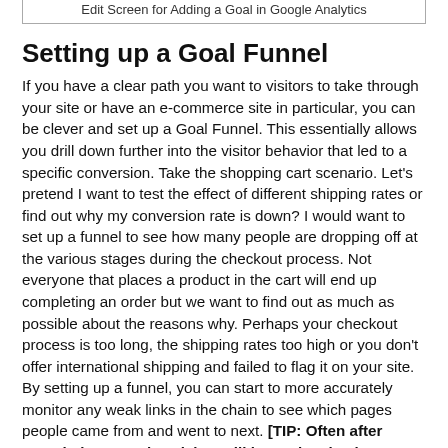Edit Screen for Adding a Goal in Google Analytics
Setting up a Goal Funnel
If you have a clear path you want to visitors to take through your site or have an e-commerce site in particular, you can be clever and set up a Goal Funnel. This essentially allows you drill down further into the visitor behavior that led to a specific conversion. Take the shopping cart scenario. Let's pretend I want to test the effect of different shipping rates or find out why my conversion rate is down? I would want to set up a funnel to see how many people are dropping off at the various stages during the checkout process. Not everyone that places a product in the cart will end up completing an order but we want to find out as much as possible about the reasons why. Perhaps your checkout process is too long, the shipping rates too high or you don't offer international shipping and failed to flag it on your site. By setting up a funnel, you can start to more accurately monitor any weak links in the chain to see which pages people came from and went to next. [TIP: Often after completing a goal, a visitor will leave the site, but creating compelling calls to action from your result